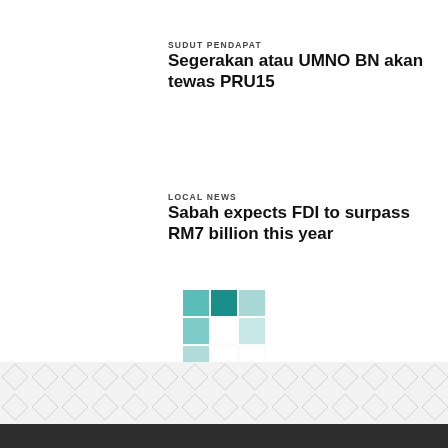SUDUT PENDAPAT
Segerakan atau UMNO BN akan tewas PRU15
LOCAL NEWS
Sabah expects FDI to surpass RM7 billion this year
[Figure (logo): Teal/green grid logo icon above Load more button]
Load more